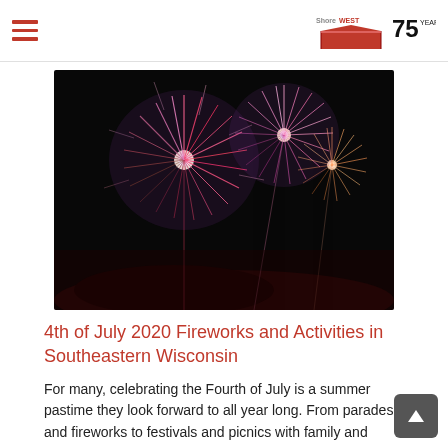ShoreWest 75 Years
[Figure (photo): Fireworks display against a dark night sky with colorful red, pink, and purple bursts]
4th of July 2020 Fireworks and Activities in Southeastern Wisconsin
For many, celebrating the Fourth of July is a summer pastime they look forward to all year long. From parades and fireworks to festivals and picnics with family and friends, this year's